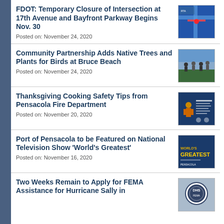FDOT: Temporary Closure of Intersection at 17th Avenue and Bayfront Parkway Begins Nov. 30
Posted on: November 24, 2020
[Figure (photo): Map graphic showing intersection closure at 17th Avenue and Bayfront Parkway]
Community Partnership Adds Native Trees and Plants for Birds at Bruce Beach
Posted on: November 24, 2020
[Figure (photo): Group of people standing outdoors at Bruce Beach planting native trees]
Thanksgiving Cooking Safety Tips from Pensacola Fire Department
Posted on: November 20, 2020
[Figure (photo): Pensacola Fire Department Thanksgiving cooking safety tips graphic with firefighter]
Port of Pensacola to be Featured on National Television Show 'World's Greatest'
Posted on: November 16, 2020
[Figure (photo): World's Greatest TV show promotional image featuring Port of Pensacola]
Two Weeks Remain to Apply for FEMA Assistance for Hurricane Sally in...
[Figure (photo): FEMA logo/seal]